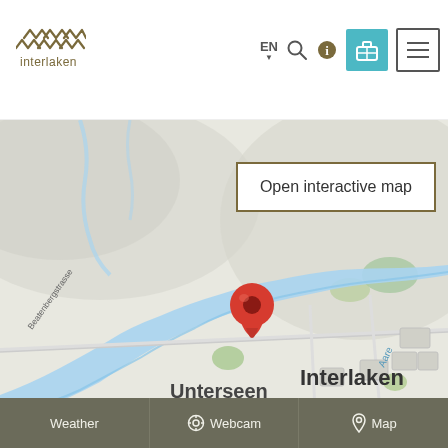[Figure (logo): Interlaken tourism logo with mountain wave motif and text 'interlaken']
[Figure (screenshot): Website navigation bar with EN language selector, search icon, info icon, suitcase icon (teal background), and hamburger menu icon]
[Figure (map): Google Maps style map showing Interlaken and Unterseen area in Switzerland, with Aare river, Beatenbergstrasse label, a red location pin marker, and surrounding terrain in grey/green tones]
Open interactive map
[Figure (infographic): Footer navigation bar with three sections: Weather, Webcam (with camera icon), Map (with location pin icon)]